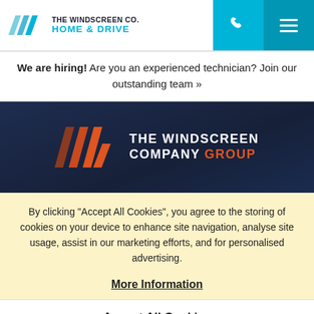THE WINDSCREEN CO. HOME & DRIVE
We are hiring! Are you an experienced technician? Join our outstanding team »
[Figure (logo): The Windscreen Company Group logo on dark navy background, with geometric angular W mark in orange/red tones and white text]
By clicking "Accept All Cookies", you agree to the storing of cookies on your device to enhance site navigation, analyse site usage, assist in our marketing efforts, and for personalised advertising.
More Information
Accept All Cookies